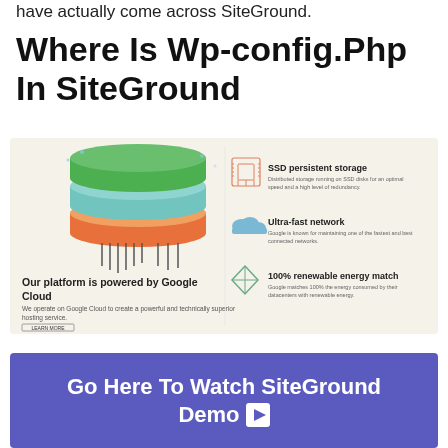have actually come across SiteGround.
Where Is Wp-config.Php In SiteGround
[Figure (screenshot): SiteGround promotional banner showing Google Cloud infrastructure features: layered colored blocks illustration on left, text 'Our platform is powered by Google Cloud', right side lists SSD persistent storage, Ultra-fast network, 100% renewable energy match with icons.]
Go Here To Watch SiteGround Demo ▶